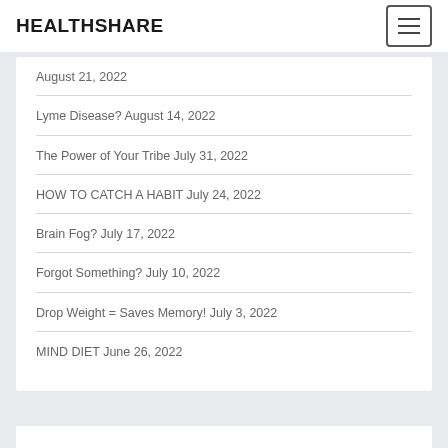HEALTHSHARE
August 21, 2022
Lyme Disease? August 14, 2022
The Power of Your Tribe July 31, 2022
HOW TO CATCH A HABIT July 24, 2022
Brain Fog? July 17, 2022
Forgot Something? July 10, 2022
Drop Weight = Saves Memory! July 3, 2022
MIND DIET June 26, 2022